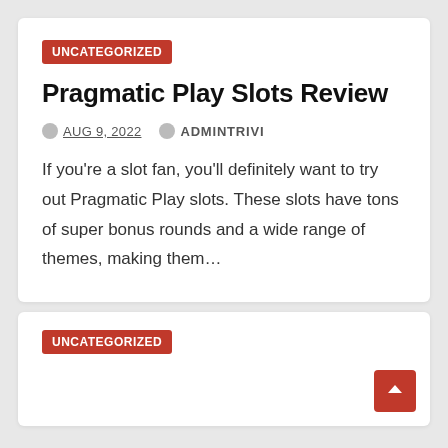UNCATEGORIZED
Pragmatic Play Slots Review
AUG 9, 2022   ADMINTRIVI
If you’re a slot fan, you’ll definitely want to try out Pragmatic Play slots. These slots have tons of super bonus rounds and a wide range of themes, making them…
UNCATEGORIZED